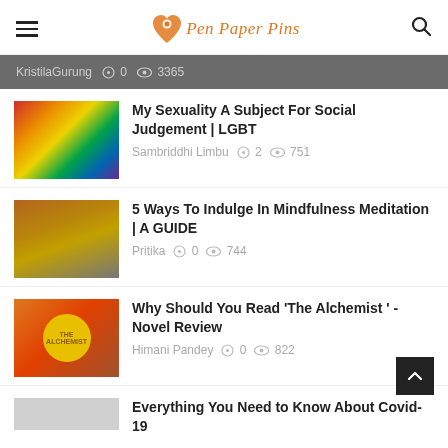Pen Paper Pins — navigation header with hamburger menu, logo, and search icon
KristilaGurung  0  3365
My Sexuality A Subject For Social Judgement | LGBT — Sambriddhi Limbu  2  751
5 Ways To Indulge In Mindfulness Meditation | A GUIDE — Pritika  0  744
Why Should You Read 'The Alchemist ' - Novel Review — Himani Pandey  0  822
Everything You Need to Know About Covid-19